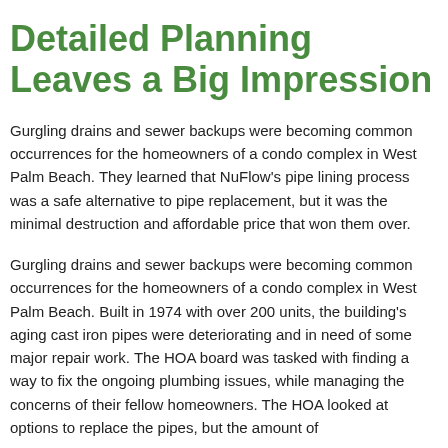Detailed Planning Leaves a Big Impression
Gurgling drains and sewer backups were becoming common occurrences for the homeowners of a condo complex in West Palm Beach. They learned that NuFlow's pipe lining process was a safe alternative to pipe replacement, but it was the minimal destruction and affordable price that won them over.
Gurgling drains and sewer backups were becoming common occurrences for the homeowners of a condo complex in West Palm Beach. Built in 1974 with over 200 units, the building's aging cast iron pipes were deteriorating and in need of some major repair work. The HOA board was tasked with finding a way to fix the ongoing plumbing issues, while managing the concerns of their fellow homeowners. The HOA looked at options to replace the pipes, but the amount of